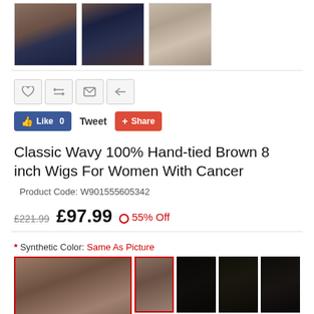[Figure (photo): Three wig thumbnail images showing side view, back view, and cap construction view]
[Figure (infographic): Action icon buttons: heart/wishlist, compare, email, return]
[Figure (infographic): Social sharing buttons: Facebook Like 0, Tweet, Google+ Share]
Classic Wavy 100% Hand-tied Brown 8 inch Wigs For Women With Cancer
Product Code: W901555605342
£221.99  £97.99  ● 55% Off
* Synthetic Color: Same As Picture
[Figure (photo): Color swatch grid showing wig color options: large main image of brown wavy wig on person, smaller thumbnail of person with wig, plus black and dark brown hair color swatches in two rows]